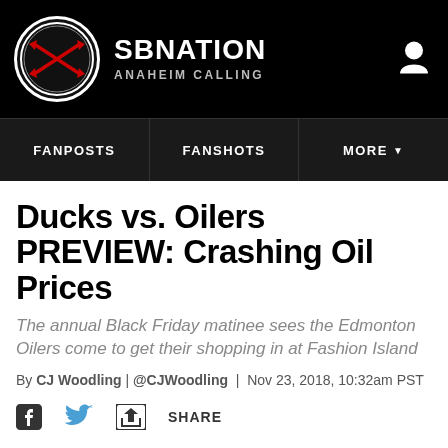SBNATION ANAHEIM CALLING
FANPOSTS | FANSHOTS | MORE
Ducks vs. Oilers PREVIEW: Crashing Oil Prices
The annual Black Friday matinee sees the Edmonton Oilers come to get their shopping in at Fashion Island
By CJ Woodling | @CJWoodling | Nov 23, 2018, 10:32am PST